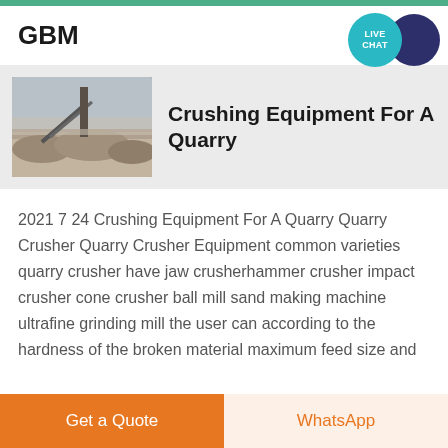GBM
Crushing Equipment For A Quarry
[Figure (photo): Quarry site with crushed stone piles and machinery]
2021 7 24 Crushing Equipment For A Quarry Quarry Crusher Quarry Crusher Equipment common varieties quarry crusher have jaw crusherhammer crusher impact crusher cone crusher ball mill sand making machine ultrafine grinding mill the user can according to the hardness of the broken material maximum feed size and